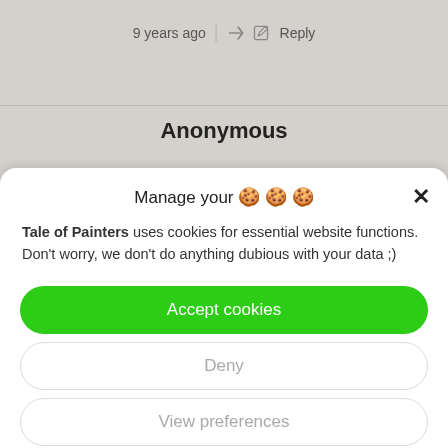9 years ago  |  Reply
Anonymous
Manage your 🍪🍪🍪
Tale of Painters uses cookies for essential website functions. Don't worry, we don't do anything dubious with your data ;)
Accept cookies
Deny
View preferences